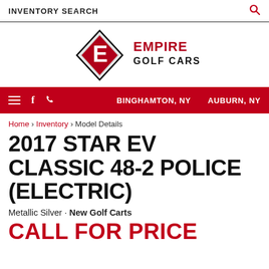INVENTORY SEARCH
[Figure (logo): Empire Golf Cars logo with diamond-shaped E emblem and text EMPIRE GOLF CARS]
≡ f ☎ BINGHAMTON, NY   AUBURN, NY
Home › Inventory › Model Details
2017 STAR EV CLASSIC 48-2 POLICE (ELECTRIC)
Metallic Silver · New Golf Carts
CALL FOR PRICE